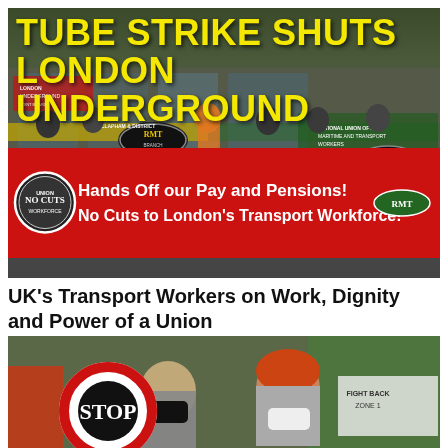[Figure (photo): Protest photo showing RMT union workers holding red banners reading 'Hands Off our Pay and Pensions! No Cuts to London's Transport Workforce!' with a 'NO CUTS' circular badge on the left, and 'TUBE STRIKE SHUTS LONDON UNDERGROUND' headline overlaid in yellow text at the top.]
UK's Transport Workers on Work, Dignity and Power of a Union
LABOUR • August 31, 2022 • Zoe Williams
[Figure (photo): Photo of protesters holding a large STOP sign with red circle and two people wearing masks visible.]